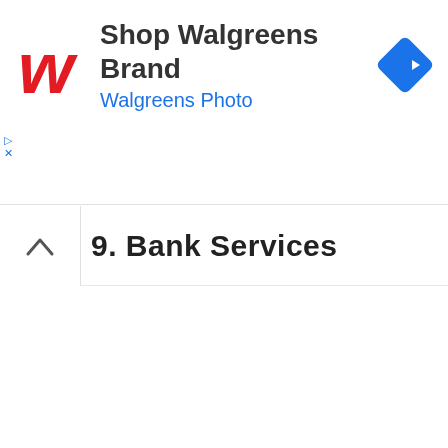[Figure (logo): Walgreens advertisement banner with Walgreens logo (red cursive W), text 'Shop Walgreens Brand' and 'Walgreens Photo' in blue, and a blue diamond navigation icon on the right]
9. Bank Services